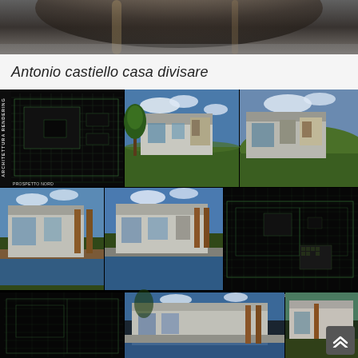[Figure (photo): Top portion of a decorative/ornamental object, appears to be an old pipe or architectural detail, dark tones]
Antonio castiello casa divisare
[Figure (illustration): Architectural project portfolio page showing multiple views of a modern residential house design. Top row: technical blueprint/floor plan drawing on black background, two 3D renderings of a modern flat-roof house with glass facades on green grass. Middle row: two 3D renderings showing the house from courtyard/pool angle, one technical elevation drawing. Bottom row: partial technical drawing and two more 3D renderings. Labels include 'PROSPETTO NORD' and 'PROSPETTO SUD'. Vertical text on left reads 'ARCHITETTURA RENDERING' or similar.]